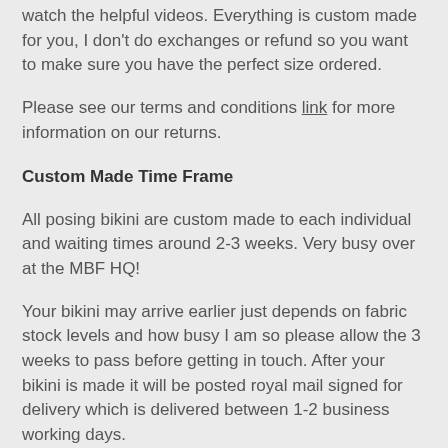watch the helpful videos. Everything is custom made for you, I don't do exchanges or refund so you want to make sure you have the perfect size ordered.
Please see our terms and conditions link for more information on our returns.
Custom Made Time Frame
All posing bikini are custom made to each individual and waiting times around 2-3 weeks. Very busy over at the MBF HQ!
Your bikini may arrive earlier just depends on fabric stock levels and how busy I am so please allow the 3 weeks to pass before getting in touch. After your bikini is made it will be posted royal mail signed for delivery which is delivered between 1-2 business working days.